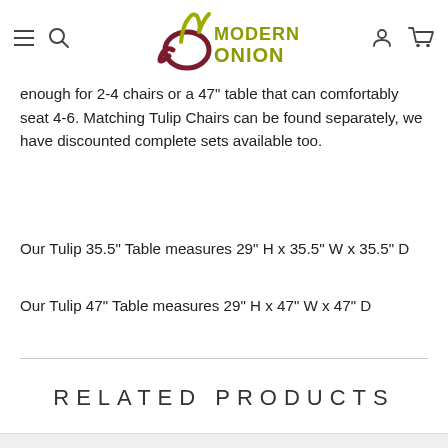[Figure (logo): Modern Onion logo with dark red circular onion shape and yellow-green leaf/M shape, text MODERN ONION in olive/khaki color]
enough for 2-4 chairs or a 47" table that can comfortably seat 4-6. Matching Tulip Chairs can be found separately, we have discounted complete sets available too.
Our Tulip 35.5" Table measures 29" H x 35.5" W x 35.5" D
Our Tulip 47" Table measures 29" H x 47" W x 47" D
RELATED PRODUCTS